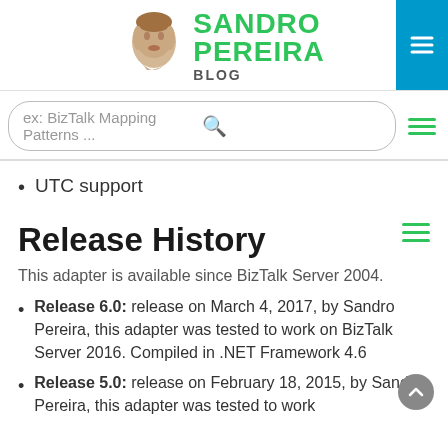SANDRO PEREIRA BLOG
ex: BizTalk Mapping Patterns ...
UTC support
Release History
This adapter is available since BizTalk Server 2004.
Release 6.0: release on March 4, 2017, by Sandro Pereira, this adapter was tested to work on BizTalk Server 2016. Compiled in .NET Framework 4.6
Release 5.0: release on February 18, 2015, by Sandro Pereira, this adapter was tested to work